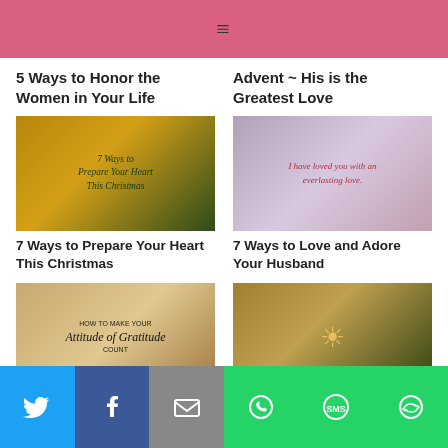≡
5 Ways to Honor the Women in Your Life
Advent ~ His is the Greatest Love
[Figure (photo): Christmas tree with ornaments and text overlay: 7 Ways to Prepare Your Heart This Christmas]
[Figure (photo): Floral bokeh background with text overlay: I have loved you with an everlasting love.]
7 Ways to Prepare Your Heart This Christmas
7 Ways to Love and Adore Your Husband
[Figure (photo): Autumn forest background with text: HOW TO MAKE YOUR Attitude of Gratitude COUNT]
[Figure (photo): Sun shining through autumn leaf, bokeh background]
Twitter | Facebook | Email | WhatsApp | SMS | More